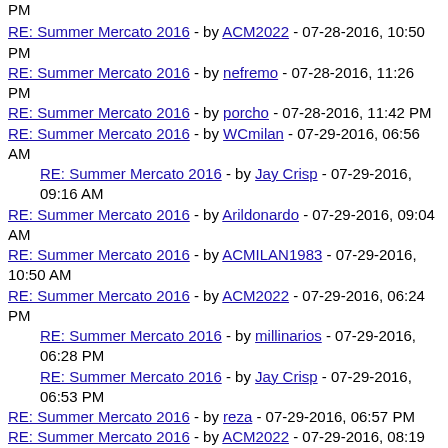PM
RE: Summer Mercato 2016 - by ACM2022 - 07-28-2016, 10:50 PM
RE: Summer Mercato 2016 - by nefremo - 07-28-2016, 11:26 PM
RE: Summer Mercato 2016 - by porcho - 07-28-2016, 11:42 PM
RE: Summer Mercato 2016 - by WCmilan - 07-29-2016, 06:56 AM
RE: Summer Mercato 2016 - by Jay Crisp - 07-29-2016, 09:16 AM
RE: Summer Mercato 2016 - by Arildonardo - 07-29-2016, 09:04 AM
RE: Summer Mercato 2016 - by ACMILAN1983 - 07-29-2016, 10:50 AM
RE: Summer Mercato 2016 - by ACM2022 - 07-29-2016, 06:24 PM
RE: Summer Mercato 2016 - by millinarios - 07-29-2016, 06:28 PM
RE: Summer Mercato 2016 - by Jay Crisp - 07-29-2016, 06:53 PM
RE: Summer Mercato 2016 - by reza - 07-29-2016, 06:57 PM
RE: Summer Mercato 2016 - by ACM2022 - 07-29-2016, 08:19 PM
RE: Summer Mercato 2016 - by reza - 07-30-2016, 03:41 AM